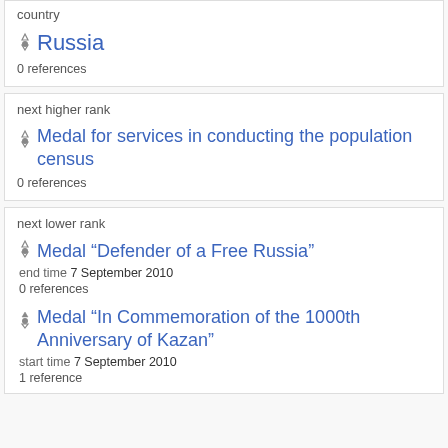country
Russia
0 references
next higher rank
Medal for services in conducting the population census
0 references
next lower rank
Medal “Defender of a Free Russia”
end time 7 September 2010
0 references
Medal “In Commemoration of the 1000th Anniversary of Kazan”
start time 7 September 2010
1 reference